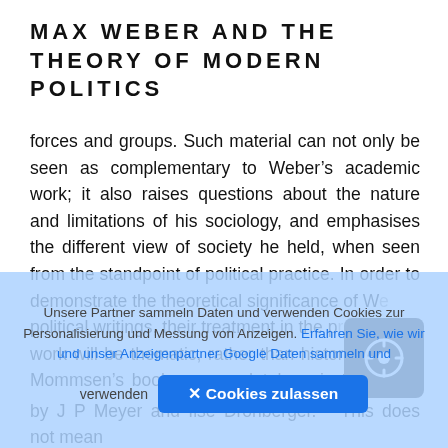MAX WEBER AND THE THEORY OF MODERN POLITICS
forces and groups. Such material can not only be seen as complementary to Weber’s academic work; it also raises questions about the nature and limitations of his sociology, and emphasises the different view of society he held, when seen from the standpoint of political practice. In order to demonstrate the theoretical significance of W… political writings, their treatment in the p… work will be thematic, rather than historical, as in Mommsen’s book, or anecdotal, as in the books by J P Meyer and Ilse Dronberger.10 This does not mean…
Unsere Partner sammeln Daten und verwenden Cookies zur Personalisierung und Messung von Anzeigen. Erfahren Sie, wie wir und unser Anzeigenpartner Google Daten sammeln und verwenden
✕ Cookies zulassen